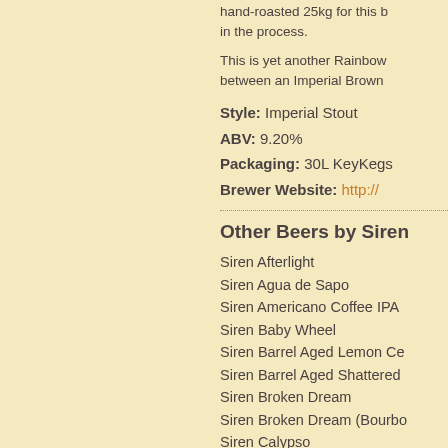hand-roasted 25kg for this b... in the process.
This is yet another Rainbow between an Imperial Brown
Style: Imperial Stout
ABV: 9.20%
Packaging: 30L KeyKegs
Brewer Website: http://
Other Beers by Siren
Siren Afterlight
Siren Agua de Sapo
Siren Americano Coffee IPA
Siren Baby Wheel
Siren Barrel Aged Lemon Ce
Siren Barrel Aged Shattered
Siren Broken Dream
Siren Broken Dream (Bourbo
Siren Calypso